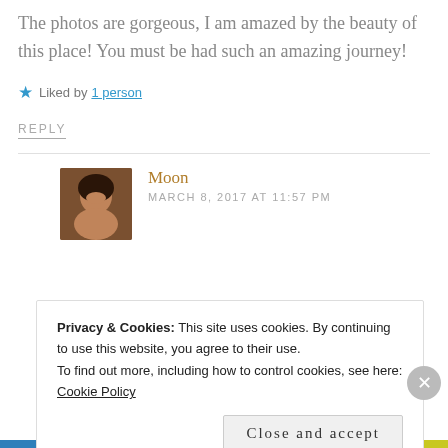The photos are gorgeous, I am amazed by the beauty of this place! You must be had such an amazing journey!
Liked by 1 person
REPLY
Moon
MARCH 8, 2017 AT 11:57 PM
Privacy & Cookies: This site uses cookies. By continuing to use this website, you agree to their use.
To find out more, including how to control cookies, see here:
Cookie Policy
Close and accept